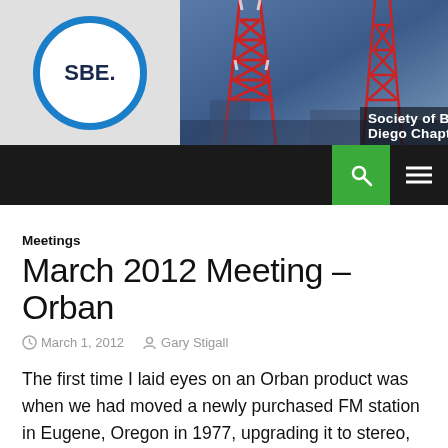[Figure (screenshot): Society of Broadcast Engineers San Diego Chapter 36 website header with SBE logo circle and broadcast tower photo]
Society of Broadcast Engineers - San Diego Chapter 36
Meetings
March 2012 Meeting – Orban
March 1, 2012   Gary Stigall
The first time I laid eyes on an Orban product was when we had moved a newly purchased FM station in Eugene, Oregon in 1977, upgrading it to stereo, raising it by 1500 feet elevation, and dropping the elevator music in favor of a new brand of FM top 40. I set the new Orban 8000 at about 5 dB of compression and walked away. That, and a set of new heads for